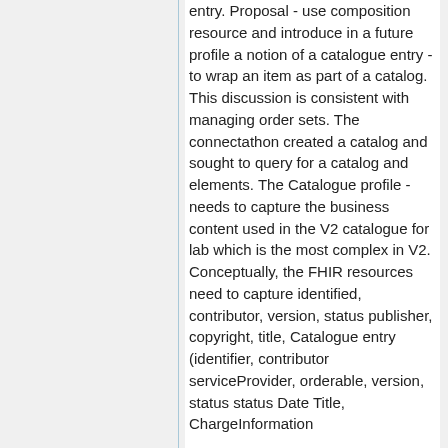entry. Proposal - use composition resource and introduce in a future profile a notion of a catalogue entry - to wrap an item as part of a catalog. This discussion is consistent with managing order sets. The connectathon created a catalog and sought to query for a catalog and elements. The Catalogue profile - needs to capture the business content used in the V2 catalogue for lab which is the most complex in V2. Conceptually, the FHIR resources need to capture identified, contributor, version, status publisher, copyright, title, Catalogue entry (identifier, contributor serviceProvider, orderable, version, status status Date Title, ChargeInformation